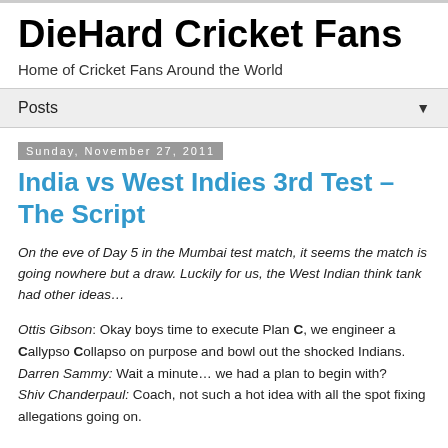DieHard Cricket Fans
Home of Cricket Fans Around the World
Posts ▼
Sunday, November 27, 2011
India vs West Indies 3rd Test – The Script
On the eve of Day 5 in the Mumbai test match, it seems the match is going nowhere but a draw. Luckily for us, the West Indian think tank had other ideas…
Ottis Gibson: Okay boys time to execute Plan C, we engineer a Callypso Collapso on purpose and bowl out the shocked Indians.
Darren Sammy: Wait a minute… we had a plan to begin with?
Shiv Chanderpaul: Coach, not such a hot idea with all the spot fixing allegations going on.